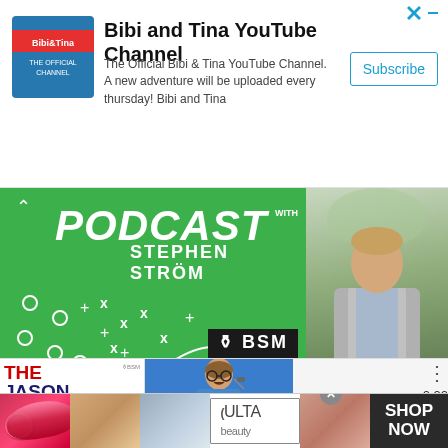[Figure (screenshot): Advertisement banner for Bibi and Tina YouTube Channel with channel logo, description text, and Subscribe button]
Bibi and Tina YouTube Channel
The Official Bibi & Tina YouTube Channel. A new adventure will be uploaded every thursday! Bibi and Tina
[Figure (screenshot): Podcast with Stephen Strom green promotional image with football play diagrams and BSM Podcast Network logo]
[Figure (photo): Man in grey suit jacket standing outdoors]
[Figure (screenshot): The Jason Barrett Podcast thumbnail with red and blue text]
[Figure (screenshot): Paul Finebaum Knows The Power podcast thumbnail]
[Figure (screenshot): Ulta Beauty advertisement with makeup imagery - lips, brush, eyes, Ulta logo, and SHOP NOW call to action]